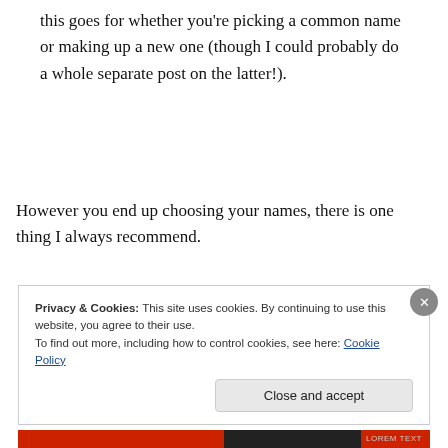this goes for whether you’re picking a common name or making up a new one (though I could probably do a whole separate post on the latter!).
However you end up choosing your names, there is one thing I always recommend.
Privacy & Cookies: This site uses cookies. By continuing to use this website, you agree to their use.
To find out more, including how to control cookies, see here: Cookie Policy
Close and accept